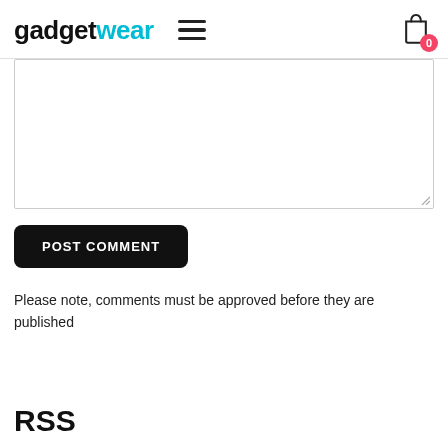gadgetwear
[Figure (screenshot): Empty textarea input box with resize handle at bottom-right]
POST COMMENT
Please note, comments must be approved before they are published
RSS